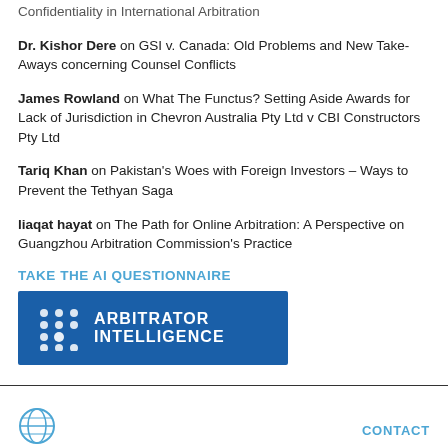Confidentiality in International Arbitration
Dr. Kishor Dere on GSI v. Canada: Old Problems and New Take-Aways concerning Counsel Conflicts
James Rowland on What The Functus? Setting Aside Awards for Lack of Jurisdiction in Chevron Australia Pty Ltd v CBI Constructors Pty Ltd
Tariq Khan on Pakistan's Woes with Foreign Investors – Ways to Prevent the Tethyan Saga
liaqat hayat on The Path for Online Arbitration: A Perspective on Guangzhou Arbitration Commission's Practice
TAKE THE AI QUESTIONNAIRE
[Figure (logo): Arbitrator Intelligence logo — blue rectangle with dot grid pattern and bold white text reading ARBITRATOR INTELLIGENCE]
CONTACT